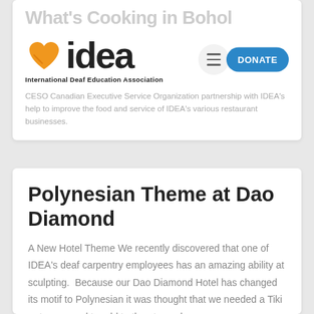What's Cooking in Bohol
[Figure (logo): IDEA (International Deaf Education Association) logo with orange heart and black text, navigation bar with hamburger menu and blue DONATE button]
CESO Canadian Executive Service Organization partnership with IDEA's help to improve the food and service of IDEA's various restaurant businesses.
Polynesian Theme at Dao Diamond
A New Hotel Theme We recently discovered that one of IDEA's deaf carpentry employees has an amazing ability at sculpting.  Because our Dao Diamond Hotel has changed its motif to Polynesian it was thought that we needed a Tiki or two around to add to the atmosphere